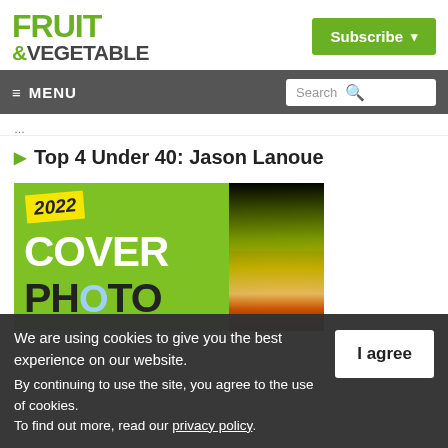FRUIT &VEGETABLE
Subscribe
≡ MENU | Search
▸ Top 4 Under 40: Jason Lanoue
[Figure (photo): 2022 Cover Photo contest promotional banner with green background, yellow 2022 badge, white COVER text, dark PHOTO text, and a strawberry photo on the right side]
We are using cookies to give you the best experience on our website.
By continuing to use the site, you agree to the use of cookies.
To find out more, read our privacy policy.
I agree